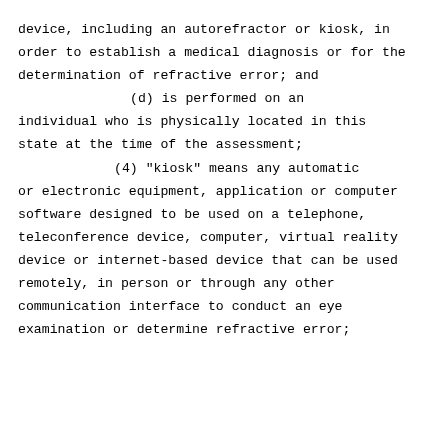device, including an autorefractor or kiosk, in order to establish a medical diagnosis or for the determination of refractive error; and
(d) is performed on an individual who is physically located in this state at the time of the assessment;
(4) "kiosk" means any automatic or electronic equipment, application or computer software designed to be used on a telephone, teleconference device, computer, virtual reality device or internet-based device that can be used remotely, in person or through any other communication interface to conduct an eye examination or determine refractive error;